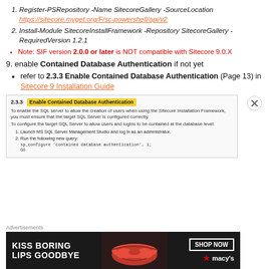1. Register-PSRepository -Name SitecoreGallery -SourceLocation https://sitecore.myget.org/F/sc-powershell/api/v2
2. Install-Module SitecoreInstallFramework -Repository SitecoreGallery -RequiredVersion 1.2.1
Note: SIF version 2.0.0 or later is NOT compatible with Sitecore 9.0.X
9. enable Contained Database Authentication if not yet
refer to 2.3.3 Enable Contained Database Authentication (Page 13) in Sitecore 9 Installation Guide
[Figure (screenshot): Screenshot of section 2.3.3 Enable Contained Database Authentication from Sitecore 9 Installation Guide, showing instructions to enable SQL server contained database authentication.]
Advertisements
[Figure (photo): Macy's advertisement banner: KISS BORING LIPS GOODBYE with SHOP NOW button and Macy's logo with red star]